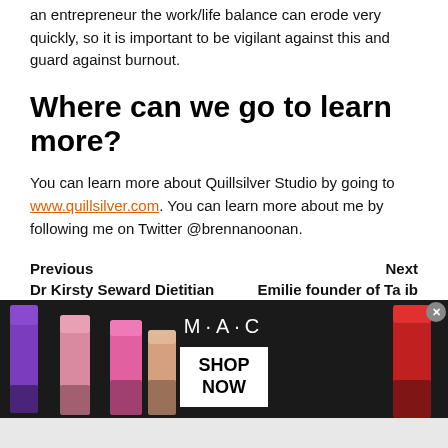an entrepreneur the work/life balance can erode very quickly, so it is important to be vigilant against this and guard against burnout.
Where can we go to learn more?
You can learn more about Quillsilver Studio by going to www.quillsilver.com. You can learn more about me by following me on Twitter @brennanoonan.
Previous    Next
Dr Kirsty Seward Dietitian    Emilie founder of Ta ib
[Figure (photo): M·A·C cosmetics advertisement banner showing colorful lipsticks on dark background with MAC logo and SHOP NOW call-to-action button]